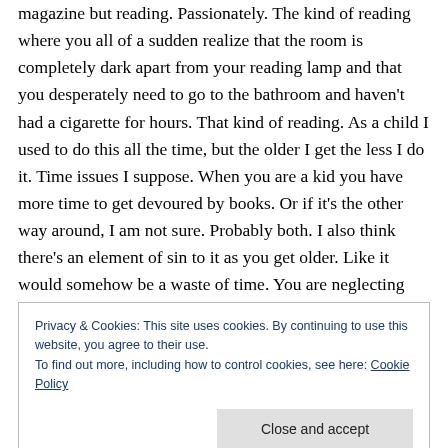magazine but reading. Passionately. The kind of reading where you all of a sudden realize that the room is completely dark apart from your reading lamp and that you desperately need to go to the bathroom and haven't had a cigarette for hours. That kind of reading. As a child I used to do this all the time, but the older I get the less I do it. Time issues I suppose. When you are a kid you have more time to get devoured by books. Or if it's the other way around, I am not sure. Probably both. I also think there's an element of sin to it as you get older. Like it would somehow be a waste of time. You are neglecting not only
Privacy & Cookies: This site uses cookies. By continuing to use this website, you agree to their use.
To find out more, including how to control cookies, see here: Cookie Policy
Close and accept
this. By continuing to use...